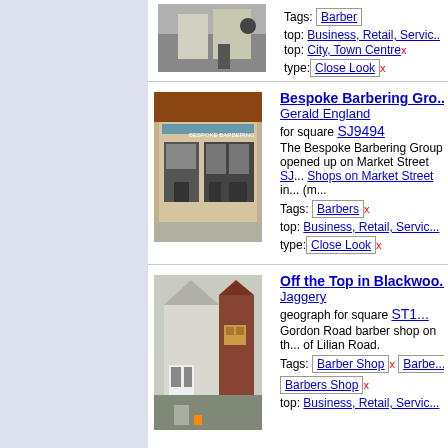[Figure (photo): Street scene photo at top of page (partial)]
Tags: Barber
top: Business, Retail, Servic...
top: City, Town Centre x
type: Close Look x
Bespoke Barbering Gro... Gerald England
for square SJ9494
The Bespoke Barbering Group opened up on Market Street SJ... Shops on Market Street in... (m...
Tags: Barbers x
top: Business, Retail, Servic...
type: Close Look x
[Figure (photo): Bespoke Barbering Group storefront on Market Street]
Off the Top in Blackwoo... Jaggery
geograph for square ST1...
Gordon Road barber shop on th... of Lilian Road.
Tags: Barber Shop x  Barbe...
Barbers Shop x
top: Business, Retail, Servic...
[Figure (photo): Off the Top barber shop on Gordon Road, Blackwood]